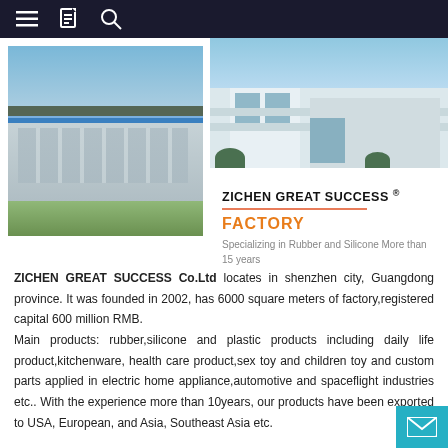≡  📋  🔍
[Figure (photo): Aerial view of Zichen Great Success factory building with blue roof, industrial facility in Shenzhen]
[Figure (photo): Modern office building exterior with glass facade and green trees]
ZICHEN GREAT SUCCESS ® FACTORY — Specializing in Rubber and Silicone More than 15 years
ZICHEN GREAT SUCCESS Co.Ltd locates in shenzhen city, Guangdong province. It was founded in 2002, has 6000 square meters of factory,registered capital 600 million RMB.
Main products: rubber,silicone and plastic products including daily life product,kitchenware, health care product,sex toy and children toy and custom parts applied in electric home appliance,automotive and spaceflight industries etc.. With the experience more than 10years, our products have been exported to USA, European, and Asia, Southeast Asia etc.